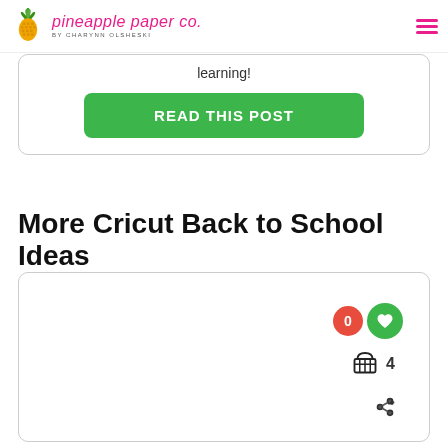pineapple paper co. by CHARYNN OLSHESKI
learning!
READ THIS POST
More Cricut Back to School Ideas
[Figure (other): Empty card/content area with floating widgets: orange badge showing 0, green heart button, shopping basket icon with count 4, and share icon]